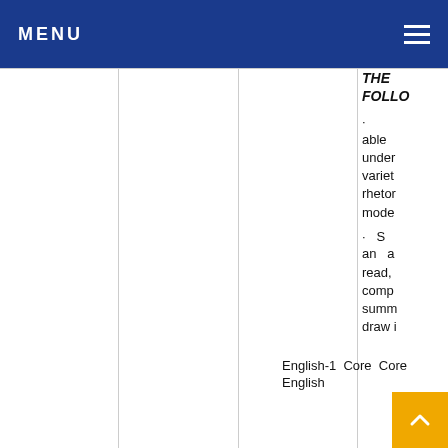MENU
THE FOLLO
able under variet rhetor mode
S an a read, comp summ draw i
English-1 Core English